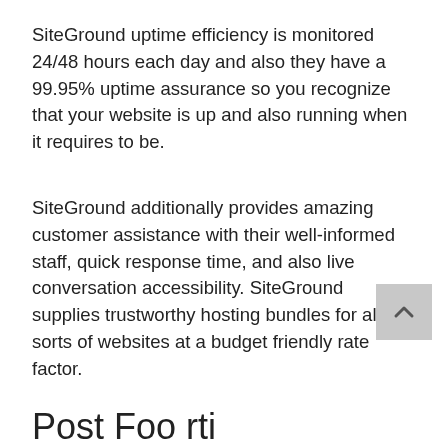SiteGround uptime efficiency is monitored 24/48 hours each day and also they have a 99.95% uptime assurance so you recognize that your website is up and also running when it requires to be.
SiteGround additionally provides amazing customer assistance with their well-informed staff, quick response time, and also live conversation accessibility. SiteGround supplies trustworthy hosting bundles for all sorts of websites at a budget friendly rate factor.
Post Foo rti...